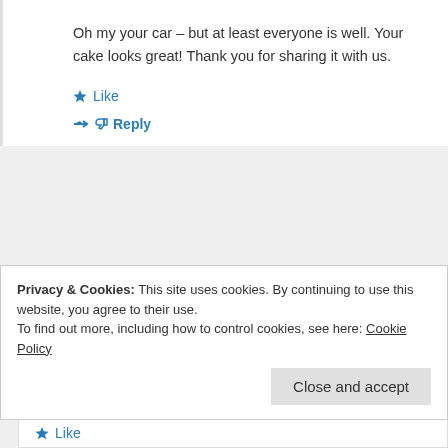Oh my your car – but at least everyone is well. Your cake looks great! Thank you for sharing it with us.
★ Like
↳ Reply
hanseata
February 11, 2013 at 4:38 am
Privacy & Cookies: This site uses cookies. By continuing to use this website, you agree to their use. To find out more, including how to control cookies, see here: Cookie Policy
Close and accept
★ Like